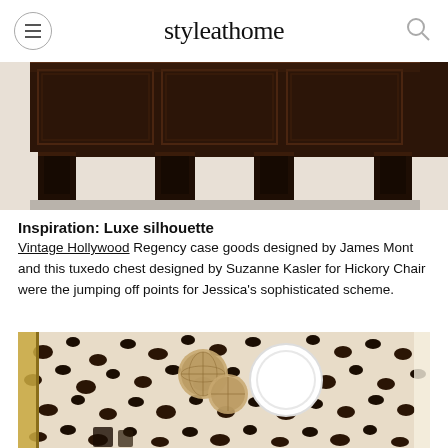styleathome
[Figure (photo): Bottom portion of a dark walnut/espresso tuxedo chest with prominent block feet, photographed against a light background]
Inspiration: Luxe silhouette
Vintage Hollywood Regency case goods designed by James Mont and this tuxedo chest designed by Suzanne Kasler for Hickory Chair were the jumping off points for Jessica's sophisticated scheme.
[Figure (photo): Overhead/top view of a room with bold leopard print wallpaper in brown and cream, featuring a round white mirror, woven disc decorations, and gold accents]